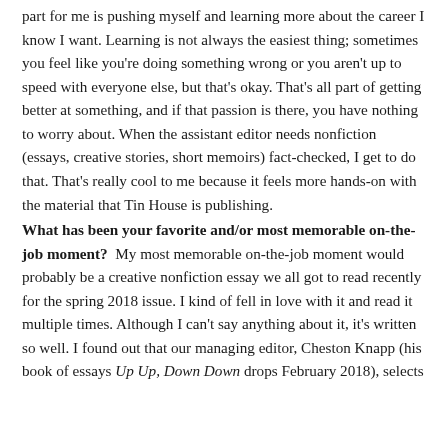part for me is pushing myself and learning more about the career I know I want. Learning is not always the easiest thing; sometimes you feel like you're doing something wrong or you aren't up to speed with everyone else, but that's okay. That's all part of getting better at something, and if that passion is there, you have nothing to worry about. When the assistant editor needs nonfiction (essays, creative stories, short memoirs) fact-checked, I get to do that. That's really cool to me because it feels more hands-on with the material that Tin House is publishing.
What has been your favorite and/or most memorable on-the-job moment? My most memorable on-the-job moment would probably be a creative nonfiction essay we all got to read recently for the spring 2018 issue. I kind of fell in love with it and read it multiple times. Although I can't say anything about it, it's written so well. I found out that our managing editor, Cheston Knapp (his book of essays Up Up, Down Down drops February 2018), selects